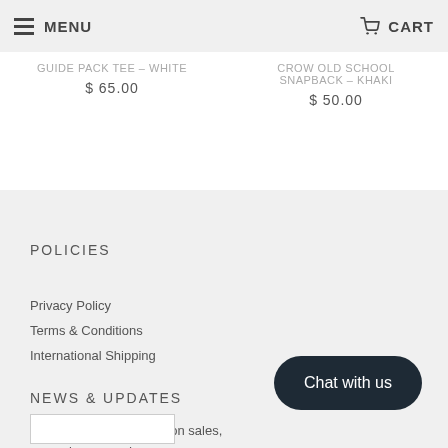MENU | CART
GUIDE PACK TEE - WHITE $ 65.00
CROW OLD SCHOOL SNAPBACK - KHAKI $ 50.00
POLICIES
Privacy Policy
Terms & Conditions
International Shipping
NEWS & UPDATES
Sign up to get the latest on sales, new releases and more ...